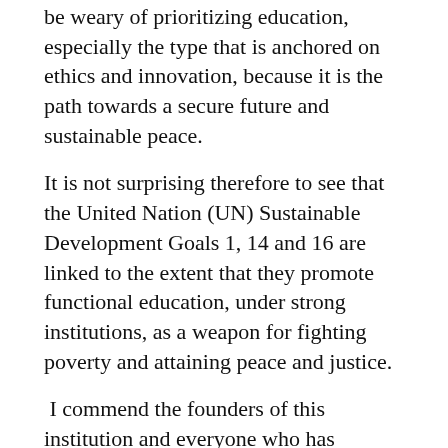be weary of prioritizing education, especially the type that is anchored on ethics and innovation, because it is the path towards a secure future and sustainable peace.
It is not surprising therefore to see that the United Nation (UN) Sustainable Development Goals 1, 14 and 16 are linked to the extent that they promote functional education, under strong institutions, as a weapon for fighting poverty and attaining peace and justice.
I commend the founders of this institution and everyone who has contributed to keeping this dream alive for the past ten years.
The fact that we are here to celebrate your 10th anniversary is a testimony of your commitment and passion in training a generation of godly leaders who, I believe, will positively transform our nation in their different walks of life.
As an institution founded on moral principles, I believe that this